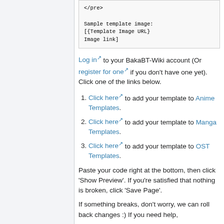</pre>

Sample template image:
[{Template Image URL}
Image link]
Log in to your BakaBT-Wiki account (Or register for one if you don't have one yet). Click one of the links below.
Click here to add your template to Anime Templates.
Click here to add your template to Manga Templates.
Click here to add your template to OST Templates.
Paste your code right at the bottom, then click 'Show Preview'. If you're satisfied that nothing is broken, click 'Save Page'.
If something breaks, don't worry, we can roll back changes :) If you need help,